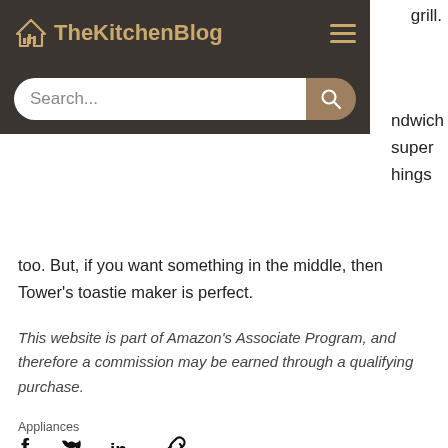TheKitchenBlog
grill.
ndwich super hings
too. But, if you want something in the middle, then Tower's toastie maker is perfect.
This website is part of Amazon’s Associate Program, and therefore a commission may be earned through a qualifying purchase.
Appliances
[Figure (infographic): Social share icons: Facebook, Twitter, LinkedIn, Link]